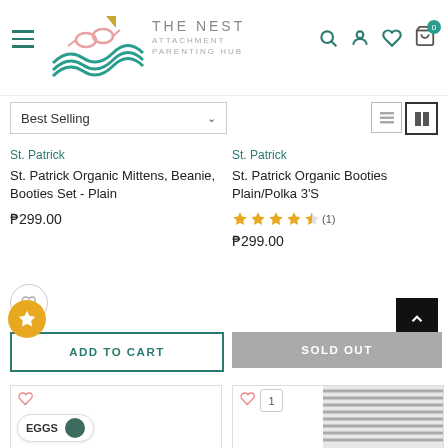THE NEST ATTACHMENT PARENTING HUB - navigation header with hamburger menu, logo, search, account, wishlist and cart icons
Best Selling (dropdown)
St. Patrick
St. Patrick Organic Mittens, Beanie, Booties Set - Plain
₱299.00
ADD TO CART
St. Patrick
St. Patrick Organic Booties Plain/Polka 3'S
★★★★½ (1)
₱299.00
SOLD OUT
[Figure (screenshot): Second row of product cards: left card showing EGGS label with dark circle icon, right card showing striped fabric product with heart and badge 1]
EGGS product card with circle icon and striped fabric product card